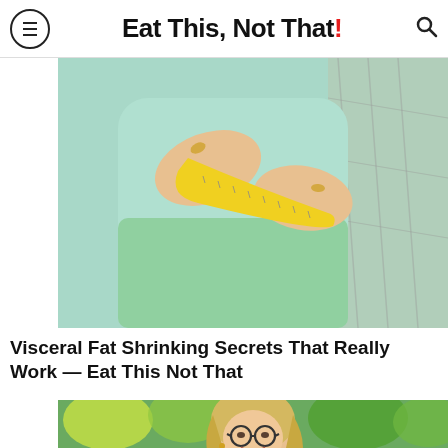Eat This, Not That!
[Figure (photo): Close-up of a woman in a light blue top measuring her waist with a yellow measuring tape, with a chain-link fence blurred in the background.]
Visceral Fat Shrinking Secrets That Really Work — Eat This Not That
[Figure (photo): A smiling middle-aged woman with blonde hair and round glasses outdoors with green trees in the background.]